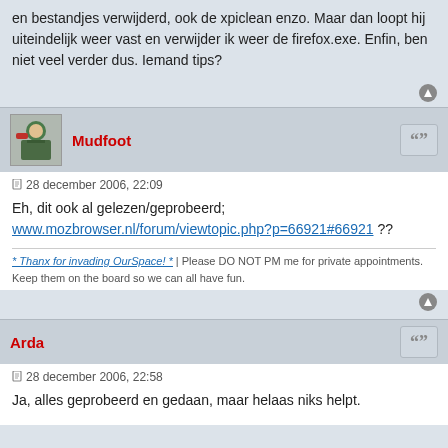en bestandjes verwijderd, ook de xpiclean enzo. Maar dan loopt hij uiteindelijk weer vast en verwijder ik weer de firefox.exe. Enfin, ben niet veel verder dus. Iemand tips?
Mudfoot
28 december 2006, 22:09
Eh, dit ook al gelezen/geprobeerd;
www.mozbrowser.nl/forum/viewtopic.php?p=66921#66921 ??
* Thanx for invading OurSpace! * | Please DO NOT PM me for private appointments. Keep them on the board so we can all have fun.
Arda
28 december 2006, 22:58
Ja, alles geprobeerd en gedaan, maar helaas niks helpt.